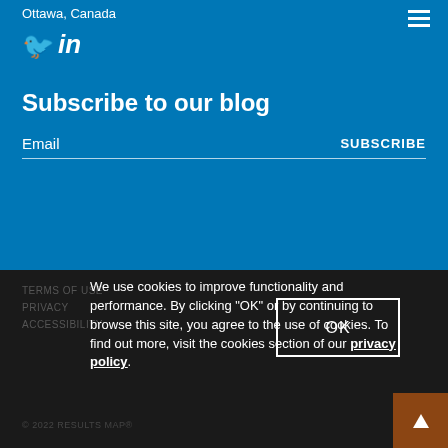Ottawa, Canada
[Figure (other): Twitter bird icon]
[Figure (other): LinkedIn 'in' icon]
[Figure (other): Hamburger menu icon (three horizontal lines)]
Subscribe to our blog
Email
SUBSCRIBE
TERMS OF USE
PRIVACY
ACCESSIBILITY
We use cookies to improve functionality and performance. By clicking "OK" or by continuing to browse this site, you agree to the use of cookies. To find out more, visit the cookies section of our privacy policy.
OK
© 2022 RESULTS MAP®